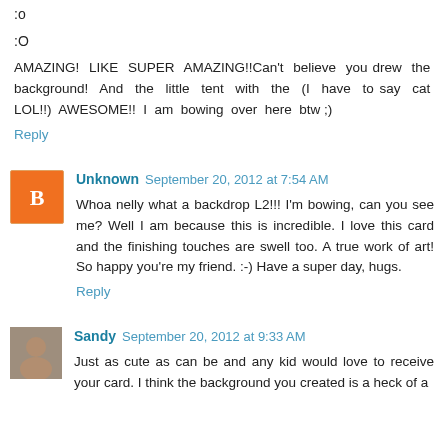:o
:O
AMAZING! LIKE SUPER AMAZING!!Can't believe you drew the background! And the little tent with the (I have to say cat LOL!!) AWESOME!! I am bowing over here btw ;)
Reply
Unknown  September 20, 2012 at 7:54 AM
Whoa nelly what a backdrop L2!!! I'm bowing, can you see me? Well I am because this is incredible. I love this card and the finishing touches are swell too. A true work of art! So happy you're my friend. :-) Have a super day, hugs.
Reply
Sandy  September 20, 2012 at 9:33 AM
Just as cute as can be and any kid would love to receive your card. I think the background you created is a heck of a